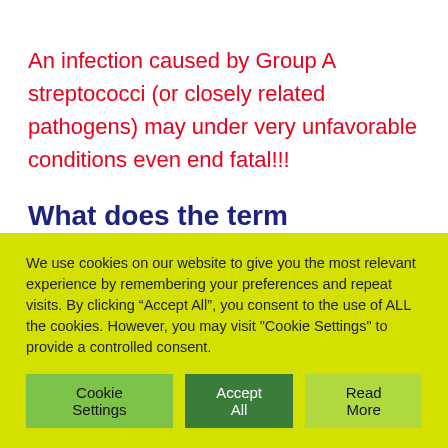An infection caused by Group A streptococci (or closely related pathogens) may under very unfavorable conditions even end fatal!!!
What does the term “phlegmone” mean?
A phlegmon is an extensively spreading infection with bacteria. As opposed to an abscess it is a closed space
We use cookies on our website to give you the most relevant experience by remembering your preferences and repeat visits. By clicking “Accept All”, you consent to the use of ALL the cookies. However, you may visit "Cookie Settings" to provide a controlled consent.